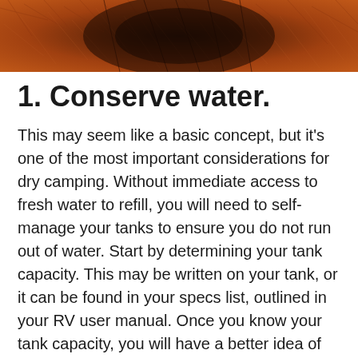[Figure (photo): Close-up photograph of reddish-brown fur or hair texture, dark in the center]
1. Conserve water.
This may seem like a basic concept, but it’s one of the most important considerations for dry camping. Without immediate access to fresh water to refill, you will need to self-manage your tanks to ensure you do not run out of water. Start by determining your tank capacity. This may be written on your tank, or it can be found in your specs list, outlined in your RV user manual. Once you know your tank capacity, you will have a better idea of how much water you have to work with.
Remember to give proper consideration to...